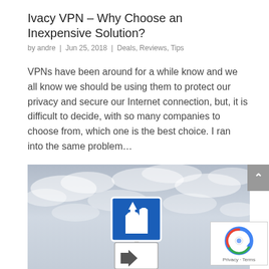Ivacy VPN – Why Choose an Inexpensive Solution?
by andre  |  Jun 25, 2018  |  Deals, Reviews, Tips
VPNs have been around for a while know and we all know we should be using them to protect our privacy and secure our Internet connection, but, it is difficult to decide, with so many companies to choose from, which one is the best choice. I ran into the same problem...
[Figure (photo): Road sign on a post against a cloudy sky background, showing a motorway symbol and a direction arrow sign.]